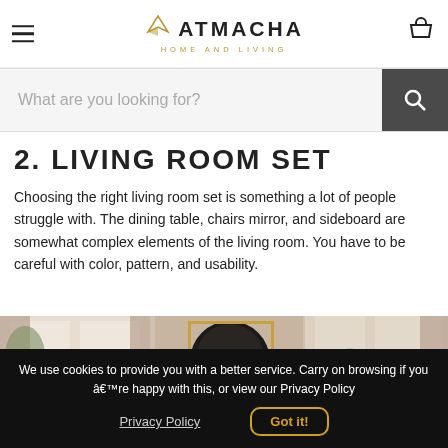ATMACHA HOME AND LIVING
2. LIVING ROOM SET
Choosing the right living room set is something a lot of people struggle with. The dining table, chairs mirror, and sideboard are somewhat complex elements of the living room. You have to be careful with color, pattern, and usability.
[Figure (photo): Interior photo showing a living room with curtains, arched mirror with gold frame, and natural light from windows]
We use cookies to provide you with a better service. Carry on browsing if youâ€™re happy with this, or view our Privacy Policy
Privacy Policy    Got it!